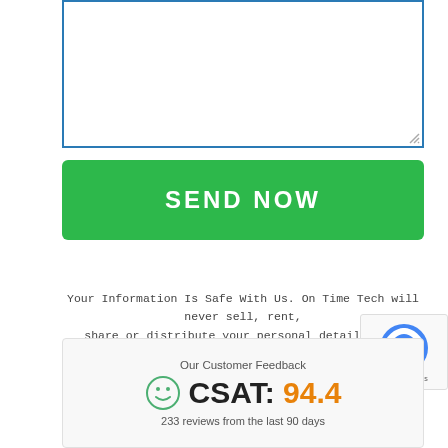[Figure (screenshot): Empty textarea input field with blue border and resize handle in bottom-right corner]
[Figure (screenshot): Green SEND NOW button with rounded corners and white bold uppercase text]
Your Information Is Safe With Us. On Time Tech will never sell, rent, share or distribute your personal details with anyone. In addition, we will never spam you.
[Figure (logo): reCAPTCHA logo with Privacy and Terms links]
Our Customer Feedback
CSAT: 94.4
233 reviews from the last 90 days